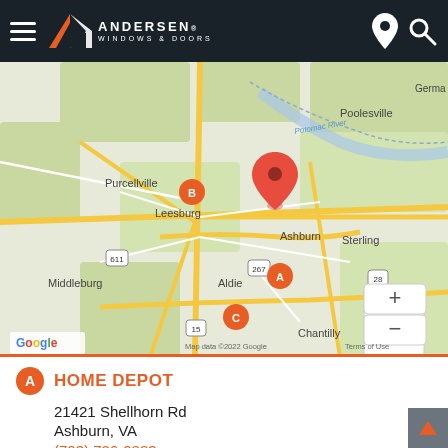Andersen Windows & Doors
[Figure (map): Google Map showing Ashburn, VA area with orange markers A, B, C and a red pin for the selected location. Shows roads including 267, 28, 15, 611, areas including Purcellville, Leesburg, Poolesville, Sterling, Middleburg, Aldie, Chantilly, Reston, and the Potomac River. Map data ©2022 Google.]
HOME DEPOT
21421 Shellhorn Rd
Ashburn, VA
(703) 726-2883